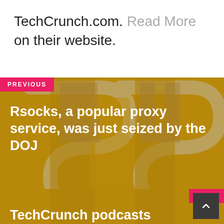TechCrunch.com. Read More on their website.
PREVIOUS
Rsocks, a popular proxy service, was just seized by the DOJ
NEXT
TechCrunch podcasts roundup: Aaron Levie on